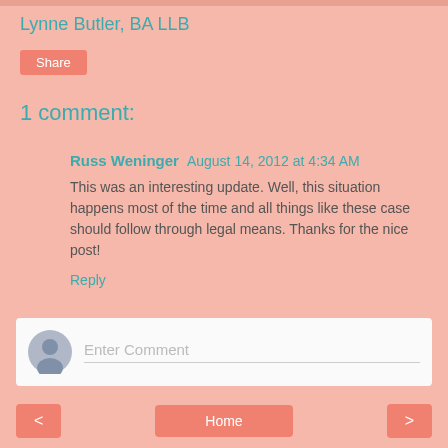Lynne Butler, BA LLB
Share
1 comment:
Russ Weninger August 14, 2012 at 4:34 AM
This was an interesting update. Well, this situation happens most of the time and all things like these case should follow through legal means. Thanks for the nice post!
Reply
Enter Comment
< Home >